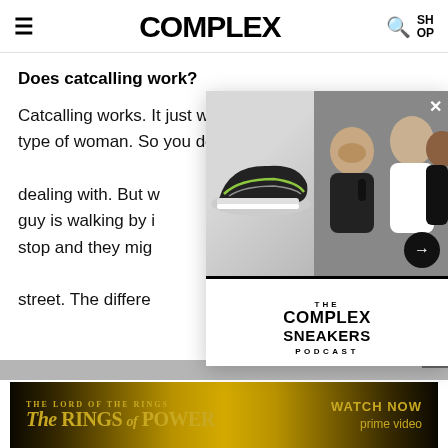≡  COMPLEX  🔍  SHOP
Does catcalling work?
Catcalling works. It just works on the right type of woman. So you don't know what you're dealing with. But w… guy is walking by i… stop and they mig… street. The differe…
[Figure (screenshot): The Complex Sneakers Podcast overlay card showing a sneaker and podcast hosts]
Abdul, 22, Ha…
[Figure (photo): The Lord of the Rings: The Rings of Power advertisement banner — Watch Now on Prime Video]